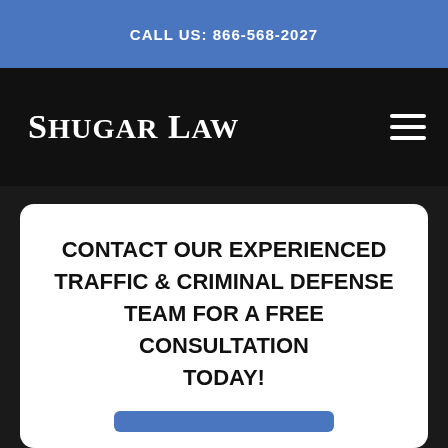CALL US: 866-568-2027
Shugar Law
CONTACT OUR EXPERIENCED TRAFFIC & CRIMINAL DEFENSE TEAM FOR A FREE CONSULTATION TODAY!